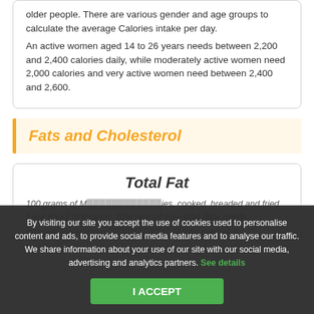older people. There are various gender and age groups to calculate the average Calories intake per day.
An active women aged 14 to 26 years needs between 2,200 and 2,400 calories daily, while moderately active women need 2,000 calories and very active women need between 2,400 and 2,600.
Fats and Cholesterol
Total Fat
100 grams of M... ...ies, cooked, breaded and fried have about of total fat. 10% high of your total daily needs.
Considering Humans... ...of total calories to
By visiting our site you accept the use of cookies used to personalise content and ads, to provide social media features and to analyse our traffic.
We share information about your use of our site with our social media, advertising and analytics partners. See details